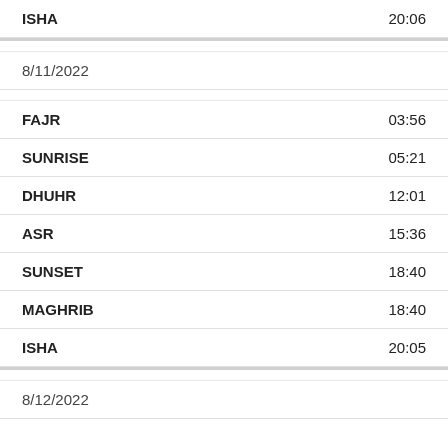ISHA 20:06
8/11/2022
FAJR 03:56
SUNRISE 05:21
DHUHR 12:01
ASR 15:36
SUNSET 18:40
MAGHRIB 18:40
ISHA 20:05
8/12/2022